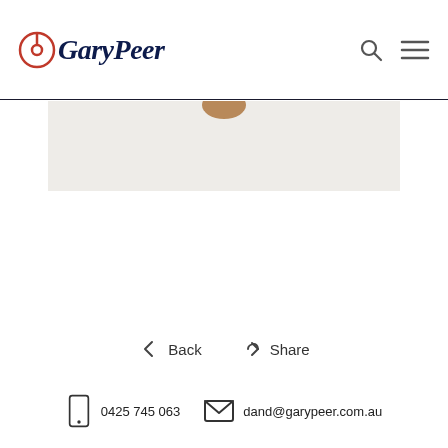GaryPeer
[Figure (photo): Partial image visible at top, appears to be a property or person photo, mostly cropped]
Back   Share
0425 745 063   dand@garypeer.com.au